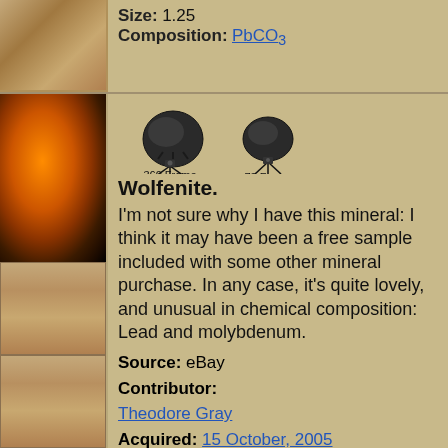Size: 1.25
Composition: PbCO3
[Figure (photo): Orange wulfenite mineral specimen on black background]
[Figure (illustration): 360 Frame and 72 Frame spin view icons showing mineral figurines on camera tripods]
Wolfenite.
I'm not sure why I have this mineral: I think it may have been a free sample included with some other mineral purchase. In any case, it's quite lovely, and unusual in chemical composition: Lead and molybdenum.
Source: eBay
Contributor: Theodore Gray
Acquired: 15 October, 2005
Price: Donated
Size: 0.25"
Composition: